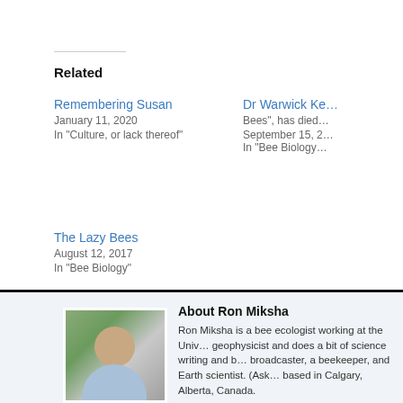Related
Remembering Susan
January 11, 2020
In "Culture, or lack thereof"
Dr Warwick Ke… Bees", has died…
September 15, …
In "Bee Biology…"
The Lazy Bees
August 12, 2017
In "Bee Biology"
About Ron Miksha
Ron Miksha is a bee ecologist working at the Univ… geophysicist and does a bit of science writing and b… broadcaster, a beekeeper, and Earth scientist. (Ask… based in Calgary, Alberta, Canada.
View all posts by Ron Miksha →